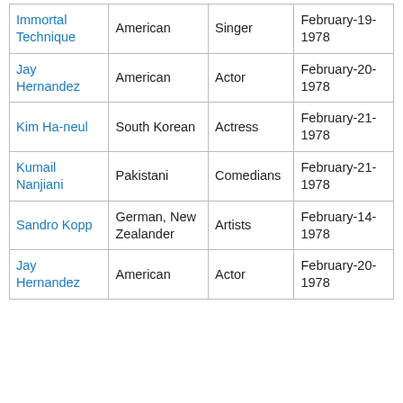| Immortal Technique | American | Singer | February-19-1978 |
| Jay Hernandez | American | Actor | February-20-1978 |
| Kim Ha-neul | South Korean | Actress | February-21-1978 |
| Kumail Nanjiani | Pakistani | Comedians | February-21-1978 |
| Sandro Kopp | German, New Zealander | Artists | February-14-1978 |
| Jay Hernandez | American | Actor | February-20-1978 |